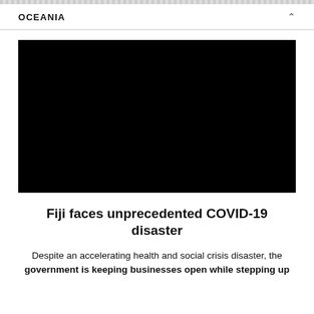OCEANIA
[Figure (photo): Black rectangular image block, video thumbnail placeholder]
Fiji faces unprecedented COVID-19 disaster
Despite an accelerating health and social crisis disaster, the government is keeping businesses open while stepping up